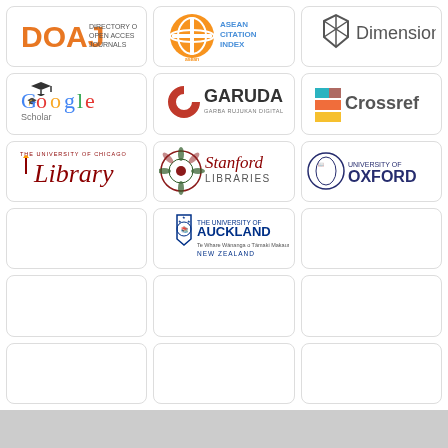[Figure (logo): DOAJ - Directory of Open Access Journals logo]
[Figure (logo): ASEAN Citation Index logo]
[Figure (logo): Dimensions logo]
[Figure (logo): Google Scholar logo]
[Figure (logo): GARUDA - Garba Rujukan Digital logo]
[Figure (logo): Crossref logo]
[Figure (logo): The University of Chicago Library logo]
[Figure (logo): Stanford Libraries logo]
[Figure (logo): University of Oxford logo]
[Figure (logo): The University of Auckland, New Zealand logo]
[Figure (logo): Empty card]
[Figure (logo): Empty card]
[Figure (logo): Empty card]
[Figure (logo): Empty card]
[Figure (logo): Empty card]
[Figure (logo): Empty card]
[Figure (logo): Empty card]
[Figure (logo): Empty card]